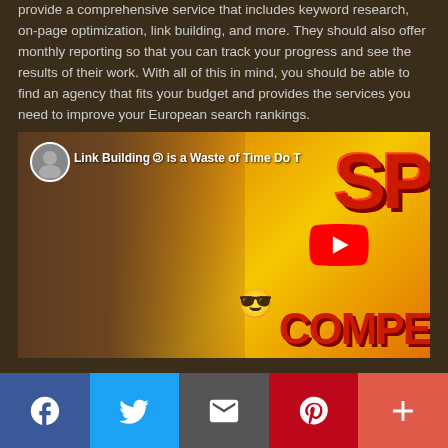provide a comprehensive service that includes keyword research, on-page optimization, link building, and more. They should also offer monthly reporting so that you can track your progress and see the results of their work. With all of this in mind, you should be able to find an agency that fits your budget and provides the services you need to improve your European search rankings.
[Figure (screenshot): YouTube video thumbnail showing a man with glasses making a shushing gesture, with bold text 'Link Building 🔗 is a Waste of Time Do T' and large red letters 'SP' and 'COMPE' visible, along with a YouTube play button, sunglasses emoji, and paper/newspaper graphics on an orange/yellow gradient background.]
[Figure (infographic): Social sharing bar with five buttons: Facebook (blue, f icon), Twitter (light blue, bird icon), Email (dark grey, envelope icon), Pinterest (red, P icon), More (coral red, + icon)]